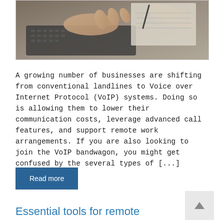[Figure (photo): Close-up photograph of a person's hands typing on a laptop keyboard, with a notebook in the background. The image is in color with warm tones.]
A growing number of businesses are shifting from conventional landlines to Voice over Internet Protocol (VoIP) systems. Doing so is allowing them to lower their communication costs, leverage advanced call features, and support remote work arrangements. If you are also looking to join the VoIP bandwagon, you might get confused by the several types of [...]
Read more
Essential tools for remote